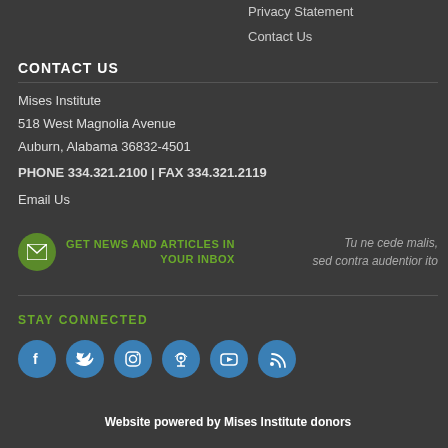Privacy Statement
Contact Us
CONTACT US
Mises Institute
518 West Magnolia Avenue
Auburn, Alabama 36832-4501
PHONE 334.321.2100 | FAX 334.321.2119
Email Us
GET NEWS AND ARTICLES IN YOUR INBOX — Tu ne cede malis, sed contra audentior ito
STAY CONNECTED
[Figure (infographic): Row of six social media icons (Facebook, Twitter, Instagram, Podcast, YouTube, RSS) as white icons on blue circles]
Website powered by Mises Institute donors